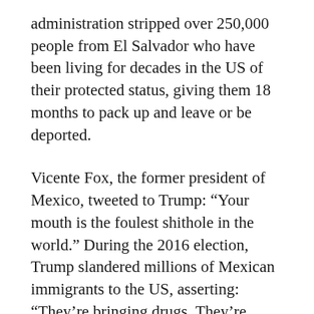administration stripped over 250,000 people from El Salvador who have been living for decades in the US of their protected status, giving them 18 months to pack up and leave or be deported.
Vicente Fox, the former president of Mexico, tweeted to Trump: “Your mouth is the foulest shithole in the world.” During the 2016 election, Trump slandered millions of Mexican immigrants to the US, asserting: “They’re bringing drugs. They’re bringing crime. They’re rapists.”
The African National Congress government in South Africa labeled the remark as “extremely